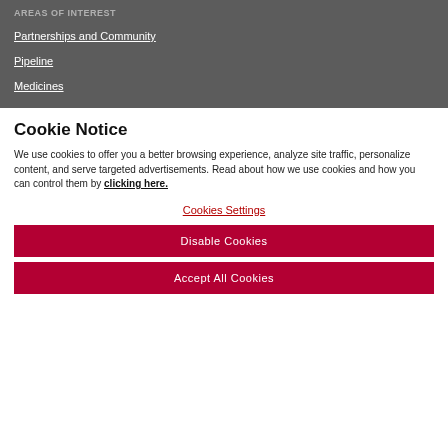AREAS OF INTEREST
Partnerships and Community
Pipeline
Medicines
Cookie Notice
We use cookies to offer you a better browsing experience, analyze site traffic, personalize content, and serve targeted advertisements. Read about how we use cookies and how you can control them by clicking here.
Cookies Settings
Disable Cookies
Accept All Cookies